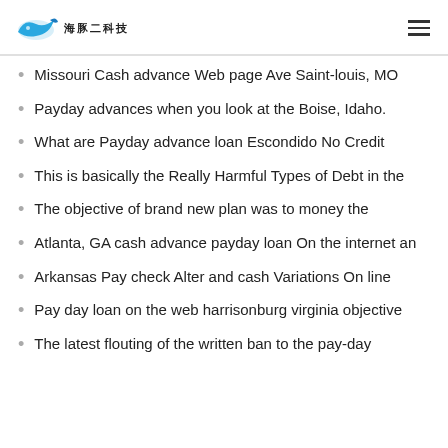海豚二科技 (logo with hamburger menu)
Missouri Cash advance Web page Ave Saint-louis, MO
Payday advances when you look at the Boise, Idaho.
What are Payday advance loan Escondido No Credit
This is basically the Really Harmful Types of Debt in the
The objective of brand new plan was to money the
Atlanta, GA cash advance payday loan On the internet an
Arkansas Pay check Alter and cash Variations On line
Pay day loan on the web harrisonburg virginia objective
The latest flouting of the written ban to the pay-day